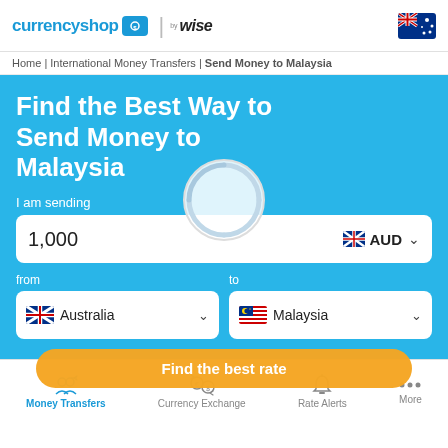currencyshop | by wise [Australian flag]
Home | International Money Transfers | Send Money to Malaysia
Find the Best Way to Send Money to Malaysia
I am sending
1,000  AUD
from  |  to
Australia  |  Malaysia
Find the best rate
Money Transfers | Currency Exchange | Rate Alerts | More